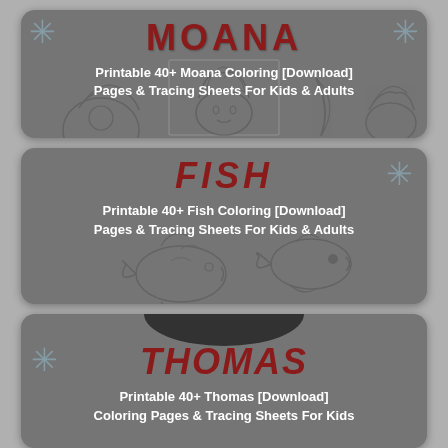[Figure (illustration): Card with 'MOANA' title in dark red bold text, subtitle 'Printable 40+ Moana Coloring [Download] Pages & Tracing Sheets For Kids & Adults' in white, with coloring page illustrations of Moana characters at bottom, snowflake decorations on grey background]
[Figure (illustration): Card with 'FISH' title in dark red bold italic text, subtitle 'Printable 40+ Fish Coloring [Download] Pages & Tracing Sheets For Kids & Adults' in white, with fish coloring page illustrations at bottom, snowflake decoration on grey background]
[Figure (illustration): Card with 'THOMAS' title in dark red bold italic text, subtitle 'Printable 40+ Thomas [Download] Coloring Pages & Tracing Sheets For Kids' in white, with partial illustration at top and snowflake decorations on grey background]